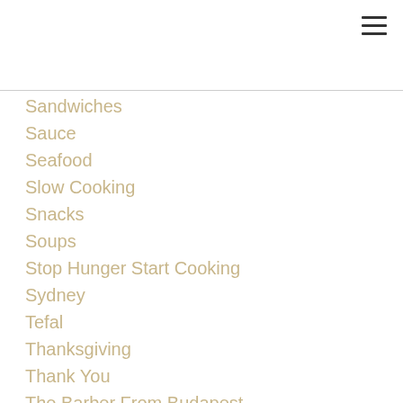Sandwiches
Sauce
Seafood
Slow Cooking
Snacks
Soups
Stop Hunger Start Cooking
Sydney
Tefal
Thanksgiving
Thank You
The Barber From Budapest
Tofu
Travel
Truffles
Tweatup510064f8ec